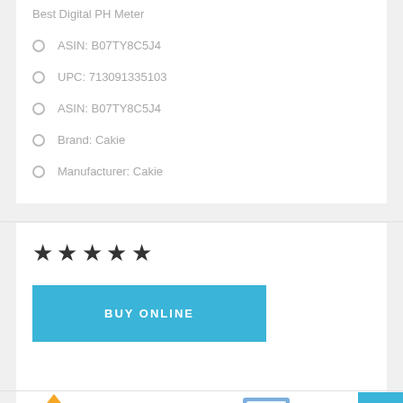Best Digital PH Meter
ASIN: B07TY8C5J4
UPC: 713091335103
ASIN: B07TY8C5J4
Brand: Cakie
Manufacturer: Cakie
[Figure (other): Five filled star rating icons]
[Figure (other): Blue BUY ONLINE button]
[Figure (other): Bottom section with product illustrations and blue scroll-to-top button]